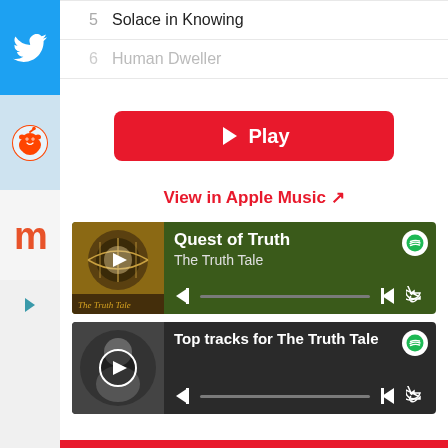5   Solace in Knowing
6   Human Dweller
▶ Play
View in Apple Music ↗
[Figure (screenshot): Spotify player card for 'Quest of Truth' by The Truth Tale with dark green background, album art, playback controls and progress bar]
[Figure (screenshot): Spotify player card for 'Top tracks for The Truth Tale' with dark background, circular album art, playback controls and progress bar]